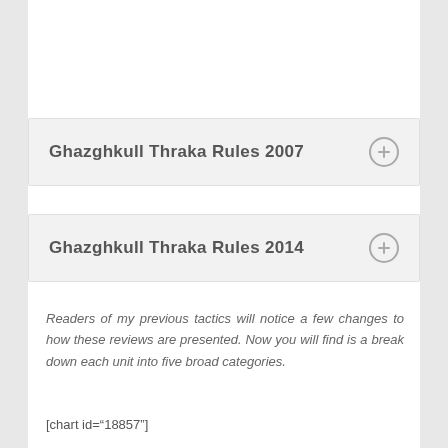Ghazghkull Thraka Rules 2007
Ghazghkull Thraka Rules 2014
Readers of my previous tactics will notice a few changes to how these reviews are presented. Now you will find is a break down each unit into five broad categories.
[chart id="18857"]